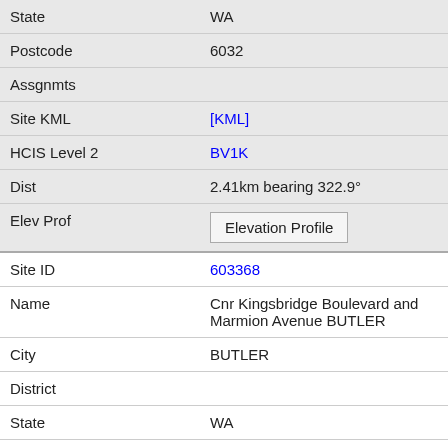| State | WA |
| Postcode | 6032 |
| Assgnmts |  |
| Site KML | [KML] |
| HCIS Level 2 | BV1K |
| Dist | 2.41km bearing 322.9° |
| Elev Prof | Elevation Profile |
| Site ID | 603368 |
| Name | Cnr Kingsbridge Boulevard and Marmion Avenue BUTLER |
| City | BUTLER |
| District |  |
| State | WA |
| Postcode | 6032 |
| Assgnmts |  |
| Site KML | [KML] |
| HCIS Level 2 | BV1K |